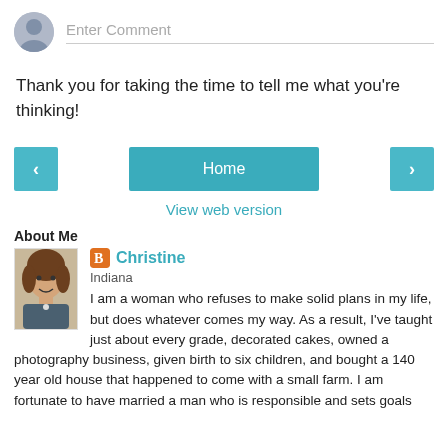[Figure (other): Comment input area with avatar placeholder and 'Enter Comment' text field]
Thank you for taking the time to tell me what you're thinking!
[Figure (other): Navigation buttons: left arrow, Home button, right arrow, and View web version link]
About Me
[Figure (photo): Profile photo of Christine, a woman with curly brown hair]
Christine
Indiana
I am a woman who refuses to make solid plans in my life, but does whatever comes my way. As a result, I've taught just about every grade, decorated cakes, owned a photography business, given birth to six children, and bought a 140 year old house that happened to come with a small farm. I am fortunate to have married a man who is responsible and sets goals